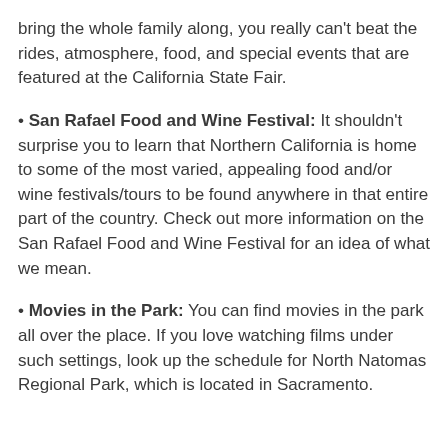bring the whole family along, you really can't beat the rides, atmosphere, food, and special events that are featured at the California State Fair.
San Rafael Food and Wine Festival: It shouldn't surprise you to learn that Northern California is home to some of the most varied, appealing food and/or wine festivals/tours to be found anywhere in that entire part of the country. Check out more information on the San Rafael Food and Wine Festival for an idea of what we mean.
Movies in the Park: You can find movies in the park all over the place. If you love watching films under such settings, look up the schedule for North Natomas Regional Park, which is located in Sacramento.